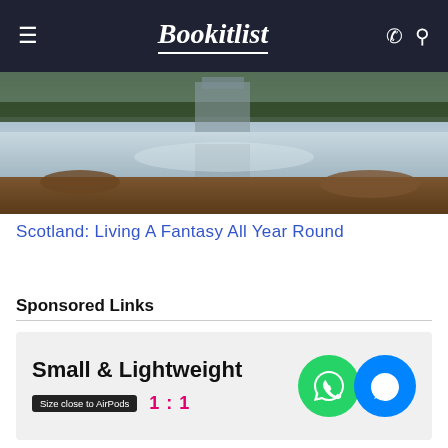Bookitlist
[Figure (photo): Scenic landscape photograph showing a reflective lake or river with trees and a building in the background, warm autumn tones with sky reflection in water]
Scotland: Living A Fantasy All Year Round
Sponsored Links
[Figure (infographic): Advertisement showing 'Small & Lightweight' text, 'Size close to AirPods' badge, '1:1' ratio in pink, and WhatsApp and Facebook Messenger app icons on a gray background]